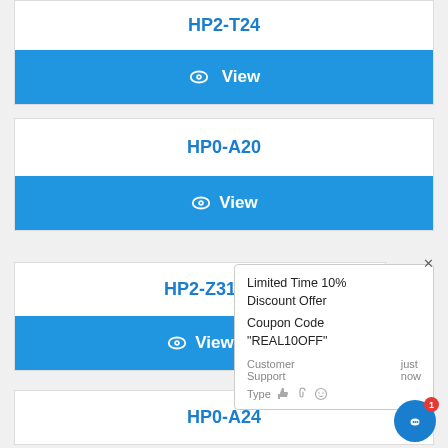HP2-T24
View
HP0-A20
View
HP2-Z31
View
Limited Time 10% Discount Offer Coupon Code "REAL10OFF"
Customer Support just now
HP0-A24